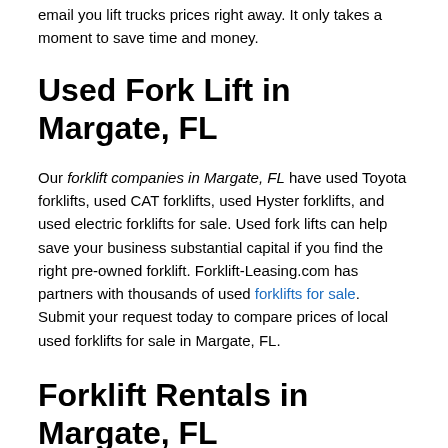email you lift trucks prices right away. It only takes a moment to save time and money.
Used Fork Lift in Margate, FL
Our forklift companies in Margate, FL have used Toyota forklifts, used CAT forklifts, used Hyster forklifts, and used electric forklifts for sale. Used fork lifts can help save your business substantial capital if you find the right pre-owned forklift. Forklift-Leasing.com has partners with thousands of used forklifts for sale. Submit your request today to compare prices of local used forklifts for sale in Margate, FL.
Forklift Rentals in Margate, FL